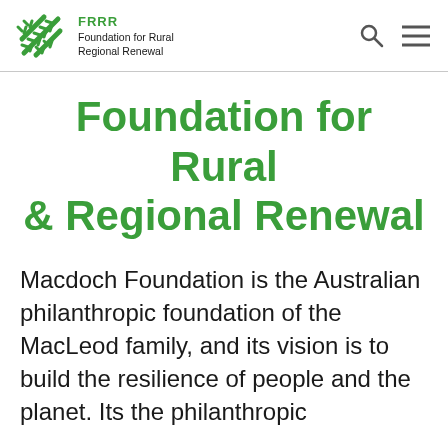FRRR Foundation for Rural Regional Renewal
Foundation for Rural & Regional Renewal
Macdoch Foundation is the Australian philanthropic foundation of the MacLeod family, and its vision is to build the resilience of people and the planet. Its the philanthropic